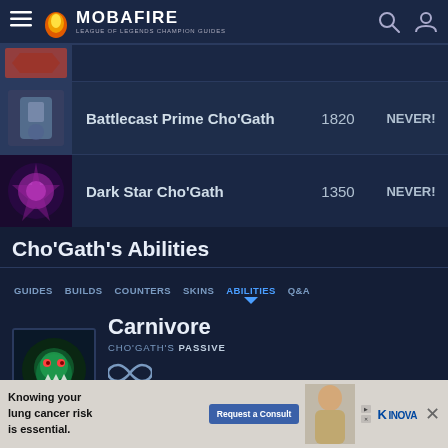MOBAFIRE — LEAGUE OF LEGENDS CHAMPION GUIDES
| Skin | Name | Price | Sale |
| --- | --- | --- | --- |
| [image] | Battlecast Prime Cho'Gath | 1820 | NEVER! |
| [image] | Dark Star Cho'Gath | 1350 | NEVER! |
Cho'Gath's Abilities
GUIDES  BUILDS  COUNTERS  SKINS  ABILITIES  Q&A
Carnivore
CHO'GATH'S PASSIVE
Whenever Cho'Gath kills a unit, he recovers 20 - 71